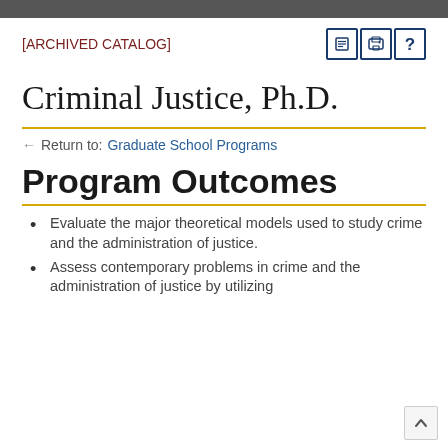[ARCHIVED CATALOG]
Criminal Justice, Ph.D.
Return to: Graduate School Programs
Program Outcomes
Evaluate the major theoretical models used to study crime and the administration of justice.
Assess contemporary problems in crime and the administration of justice by utilizing